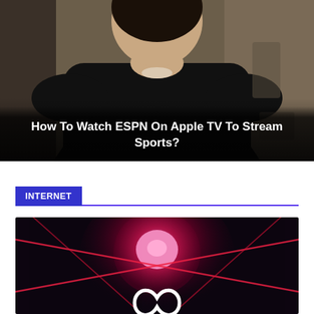[Figure (photo): Person seen from behind wearing a black sweater, dark background, dimly lit room]
How To Watch ESPN On Apple TV To Stream Sports?
INTERNET
[Figure (photo): Dark background with a glowing pink/red circular orb and crossing red diagonal lines, with a white infinity/Meta-style logo at the bottom center]